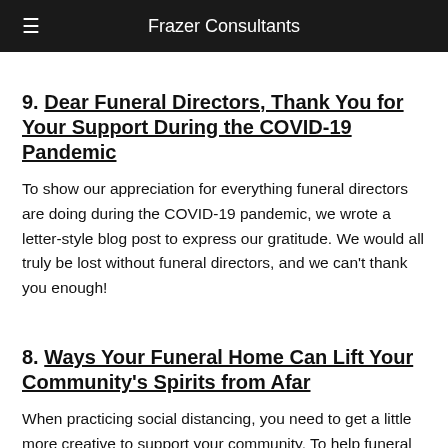Frazer Consultants
9. Dear Funeral Directors, Thank You for Your Support During the COVID-19 Pandemic
To show our appreciation for everything funeral directors are doing during the COVID-19 pandemic, we wrote a letter-style blog post to express our gratitude. We would all truly be lost without funeral directors, and we can't thank you enough!
8. Ways Your Funeral Home Can Lift Your Community's Spirits from Afar
When practicing social distancing, you need to get a little more creative to support your community. To help funeral directors get started, we shared a few ideas, such as